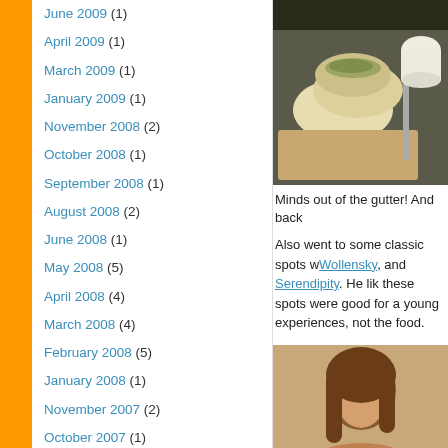June 2009 (1)
April 2009 (1)
March 2009 (1)
January 2009 (1)
November 2008 (2)
October 2008 (1)
September 2008 (1)
August 2008 (2)
June 2008 (1)
May 2008 (5)
April 2008 (4)
March 2008 (4)
February 2008 (5)
January 2008 (1)
November 2007 (2)
October 2007 (1)
September 2007 (2)
July 2007 (1)
June 2007 (1)
[Figure (photo): Photo of bread/buns with herbs on a cutting board]
Minds out of the gutter! And back
Also went to some classic spots w... Wollensky, and Serendipity. He li... these spots were good for a young... experiences, not the food.
[Figure (photo): Photo of a woman with brown hair]